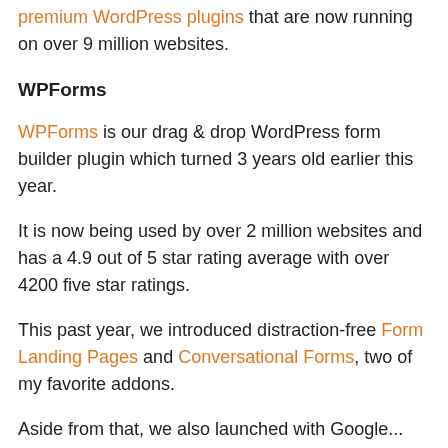premium WordPress plugins that are now running on over 9 million websites.
WPForms
WPForms is our drag & drop WordPress form builder plugin which turned 3 years old earlier this year.
It is now being used by over 2 million websites and has a 4.9 out of 5 star rating average with over 4200 five star ratings.
This past year, we introduced distraction-free Form Landing Pages and Conversational Forms, two of my favorite addons.
Aside from that, we also launched with Google...